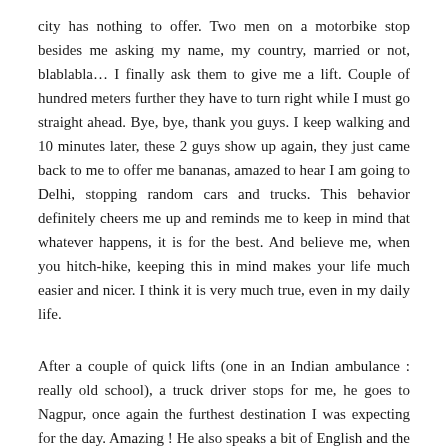city has nothing to offer. Two men on a motorbike stop besides me asking my name, my country, married or not, blablabla… I finally ask them to give me a lift. Couple of hundred meters further they have to turn right while I must go straight ahead. Bye, bye, thank you guys. I keep walking and 10 minutes later, these 2 guys show up again, they just came back to me to offer me bananas, amazed to hear I am going to Delhi, stopping random cars and trucks. This behavior definitely cheers me up and reminds me to keep in mind that whatever happens, it is for the best. And believe me, when you hitch-hike, keeping this in mind makes your life much easier and nicer. I think it is very much true, even in my daily life.
After a couple of quick lifts (one in an Indian ambulance : really old school), a truck driver stops for me, he goes to Nagpur, once again the furthest destination I was expecting for the day. Amazing ! He also speaks a bit of English and the day passes, between – simple – chats, reading, and contemplating of Indian landscapes and villages at a slow pace. The night comes and as soon as we get into Marashtra (Bombay state), the road – pretty good so far – becomes absolutely terrible. It is supposed to be one of the main highway in India but I am not sure anyone in our western countries would dare to have such a bad dirt road to reach his own place. Incredible India they say. Indeed ! We eventually reach my driver's place ? small village by Nagpur at 1.30am (and not 10pm as he said 5 hours earlier… Quite accurate that time! No ? ). I sleep in his truck, and when the rain comes I realize that